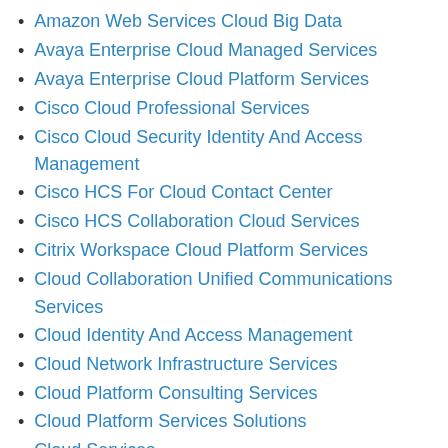Amazon Web Services Cloud Big Data
Avaya Enterprise Cloud Managed Services
Avaya Enterprise Cloud Platform Services
Cisco Cloud Professional Services
Cisco Cloud Security Identity And Access Management
Cisco HCS For Cloud Contact Center
Cisco HCS Collaboration Cloud Services
Citrix Workspace Cloud Platform Services
Cloud Collaboration Unified Communications Services
Cloud Identity And Access Management
Cloud Network Infrastructure Services
Cloud Platform Consulting Services
Cloud Platform Services Solutions
Cloud Services